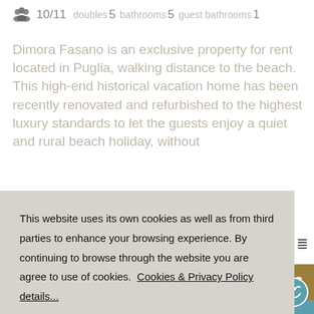10/11  doubles 5  bathrooms 5  guest bathrooms 1
Dimora Fasano is an exclusive property for rent located in Puglia, walking distance to the beach. This high-end historical vacation home has been recently renovated and refurbished to the highest luxury standards to let the guests enjoy a quiet and rural beach holiday, without
This website uses its own cookies as well as from third parties to enhance your browsing experience. By continuing to browse through the website you are agree to use of cookies. Cookies & Privacy Policy details...
I understand